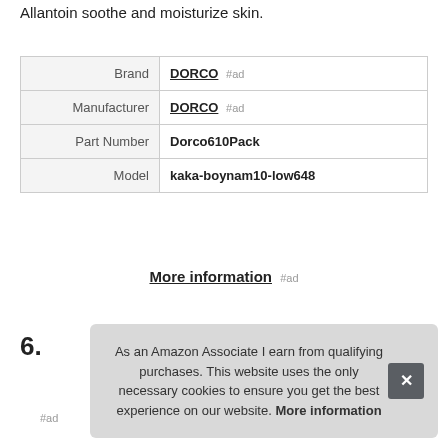Allantoin soothe and moisturize skin.
| Brand | DORCO #ad |
| Manufacturer | DORCO #ad |
| Part Number | Dorco610Pack |
| Model | kaka-boynam10-low648 |
More information #ad
6.
#ad
As an Amazon Associate I earn from qualifying purchases. This website uses the only necessary cookies to ensure you get the best experience on our website. More information